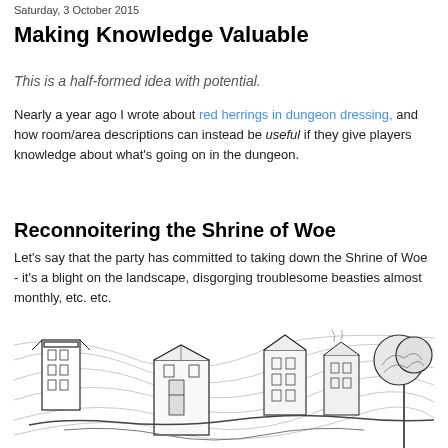Saturday, 3 October 2015
Making Knowledge Valuable
This is a half-formed idea with potential.
Nearly a year ago I wrote about red herrings in dungeon dressing, and how room/area descriptions can instead be useful if they give players knowledge about what's going on in the dungeon.
Reconnoitering the Shrine of Woe
Let's say that the party has committed to taking down the Shrine of Woe - it's a blight on the landscape, disgorging troublesome beasties almost monthly, etc. etc.
[Figure (illustration): Black and white ink illustration of a fantasy dungeon/shrine complex shown in isometric perspective, featuring multi-story stone buildings with arched windows, a large tree on the right, and dramatic flowing background elements suggesting movement or wind.]